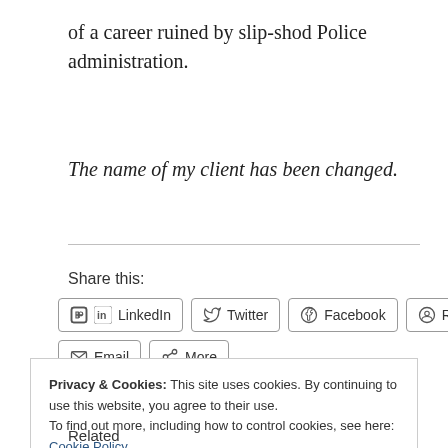of a career ruined by slip-shod Police administration.
The name of my client has been changed.
Share this:
[Figure (other): Social share buttons: LinkedIn, Twitter, Facebook, Reddit, Email, More]
Privacy & Cookies: This site uses cookies. By continuing to use this website, you agree to their use.
To find out more, including how to control cookies, see here: Cookie Policy
Close and accept
Related